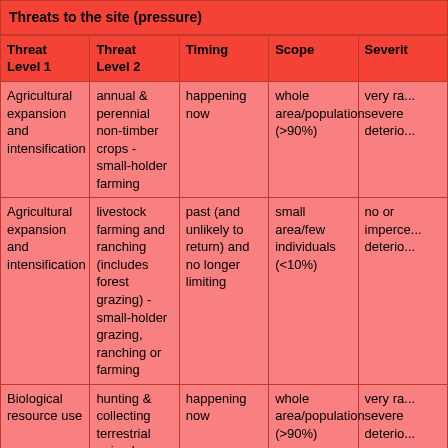| Threat Level 1 | Threat Level 2 | Timing | Scope | Severity |
| --- | --- | --- | --- | --- |
| Agricultural expansion and intensification | annual & perennial non-timber crops - small-holder farming | happening now | whole area/population (>90%) | very ra... severe deterio... |
| Agricultural expansion and intensification | livestock farming and ranching (includes forest grazing) - small-holder grazing, ranching or farming | past (and unlikely to return) and no longer limiting | small area/few individuals (<10%) | no or imperce... deterio... |
| Biological resource use | hunting & collecting terrestrial animals - intentional use (species being assessed is the target) | happening now | whole area/population (>90%) | very ra... severe deterio... |
| Climate change and severe weather | drought | happening now | majority/most of area/population (50-90%) | modera... rapid deterio... |